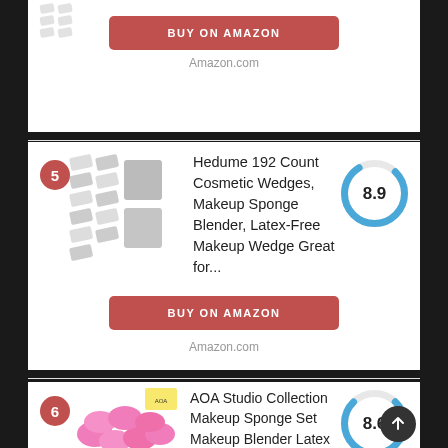BUY ON AMAZON
Amazon.com
5 – Hedume 192 Count Cosmetic Wedges, Makeup Sponge Blender, Latex-Free Makeup Wedge Great for...
[Figure (other): Donut score indicator showing 8.9]
BUY ON AMAZON
Amazon.com
6 – AOA Studio Collection Makeup Sponge Set Makeup Blender Latex Free and High-definition Set of...
[Figure (other): Donut score indicator showing 8.6]